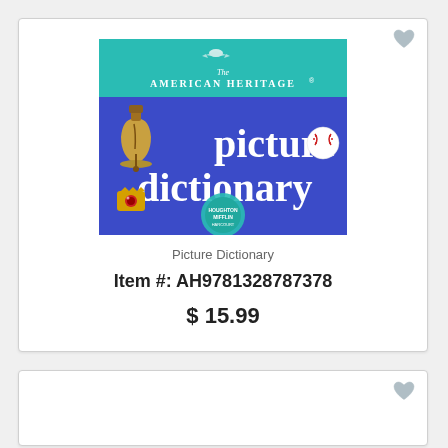[Figure (illustration): Book cover of The American Heritage Picture Dictionary, showing a blue and teal cover with Liberty Bell, baseball, and camera illustrations, and large white text reading 'picture dictionary']
Picture Dictionary
Item #: AH9781328787378
$ 15.99